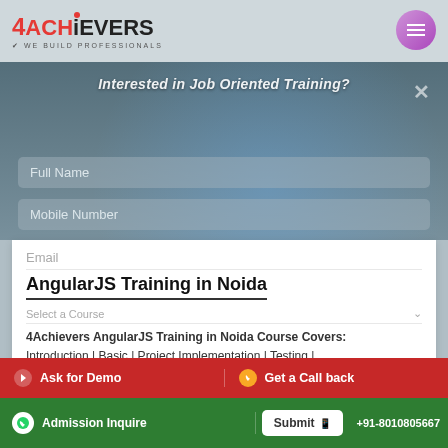4ACHIEVERS — We Build Professionals
Interested in Job Oriented Training?
Full Name
Mobile Number
Email
AngularJS Training in Noida
4Achievers AngularJS Training in Noida Course Covers:
Introduction | Basic | Project Implementation | Testing | Architecture | Advance Learning | Interview Preparation | JOB Assistance.
Training Mode
Location
Type Your Message Here
85 429 — Enter Captcha
Ask for Demo | Get a Call back | Admission Inquire | Submit | +91-8010805667